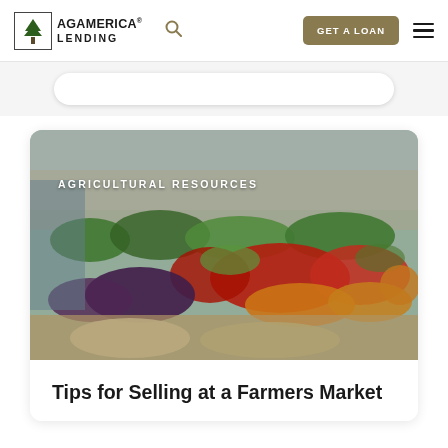[Figure (logo): AgAmerica Lending logo with tree icon]
[Figure (photo): Colorful farmers market produce display with fruits and vegetables, overlaid with text 'AGRICULTURAL RESOURCES']
Tips for Selling at a Farmers Market